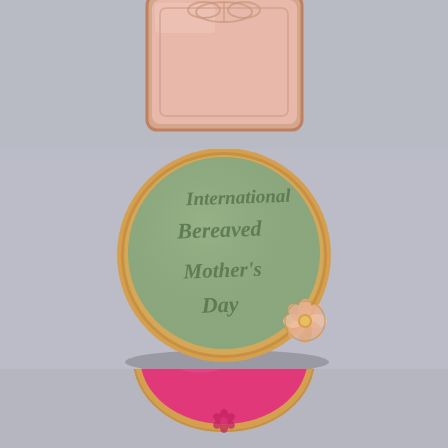[Figure (photo): Three decorated sugar cookies arranged vertically. Top: a square pink-frosted cookie partially visible. Middle: a round cookie with sage/green frosting stamped with 'International Bereaved Mother's Day' in script, with a small pink and gold flower decoration. Bottom: a pink/hot-pink oval cookie partially visible with decorative design.]